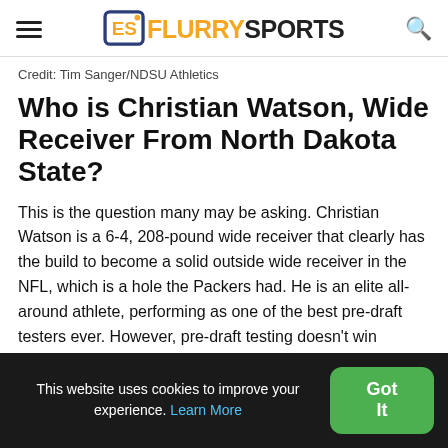FlurrySports
Credit: Tim Sanger/NDSU Athletics
Who is Christian Watson, Wide Receiver From North Dakota State?
This is the question many may be asking. Christian Watson is a 6-4, 208-pound wide receiver that clearly has the build to become a solid outside wide receiver in the NFL, which is a hole the Packers had. He is an elite all-around athlete, performing as one of the best pre-draft testers ever. However, pre-draft testing doesn't win championships, so what
This website uses cookies to improve your experience. Learn More